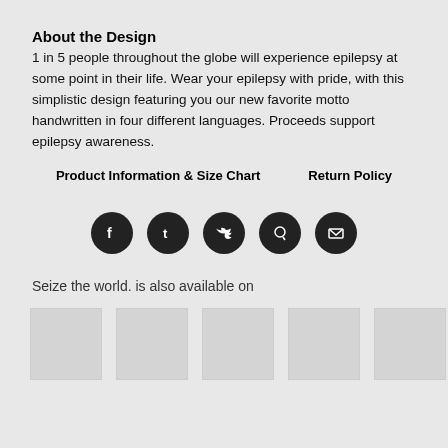About the Design
1 in 5 people throughout the globe will experience epilepsy at some point in their life. Wear your epilepsy with pride, with this simplistic design featuring you our new favorite motto handwritten in four different languages. Proceeds support epilepsy awareness.
Product Information & Size Chart    Return Policy
[Figure (infographic): Row of 5 circular social media share buttons: Facebook, Tumblr, Twitter, Pinterest, Email]
Seize the world. is also available on
[Figure (photo): Row of 6 product thumbnail images (placeholder grey squares)]